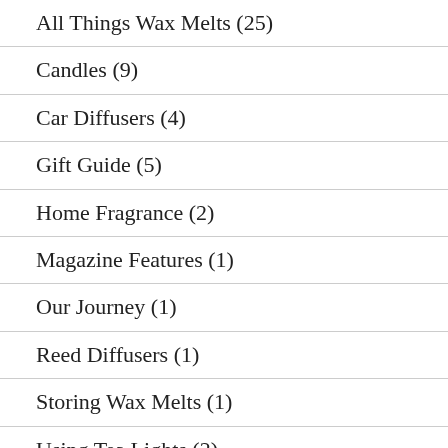All Things Wax Melts (25)
Candles (9)
Car Diffusers (4)
Gift Guide (5)
Home Fragrance (2)
Magazine Features (1)
Our Journey (1)
Reed Diffusers (1)
Storing Wax Melts (1)
Using Tea Lights (2)
Wax Burners (4)